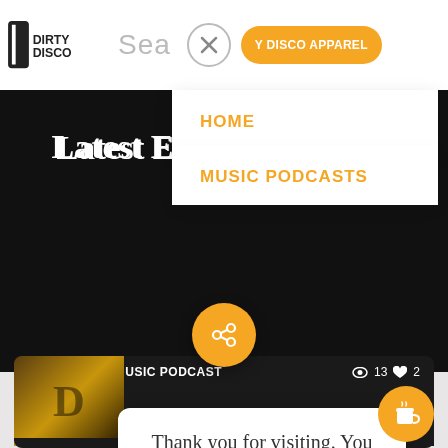[Figure (screenshot): Website navigation bar with logo 'Dirty Disco', search bar showing 'Sea', close X button, and 'Y DISCO APPAREL' orange button]
HOME
MUSIC PODCASTS
Latest Electronic Music Podcasts
[Figure (other): Orange share button (circular with share icon)]
ELECTRONIC MUSIC PODCAST  👁 13  ♥ 2
Thank you for visiting. You can now buy me a coffee!